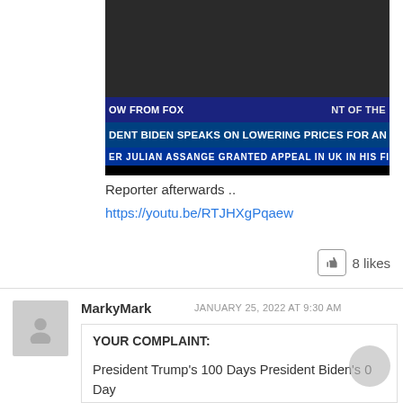[Figure (screenshot): Fox News broadcast screenshot showing Biden speaking on lowering prices and Julian Assange news ticker at bottom]
Reporter afterwards ..
https://youtu.be/RTJHXgPqaew
8 likes
MarkyMark  JANUARY 25, 2022 AT 9:30 AM
YOUR COMPLAINT:

President Trump's 100 Days President Biden's 0 Day